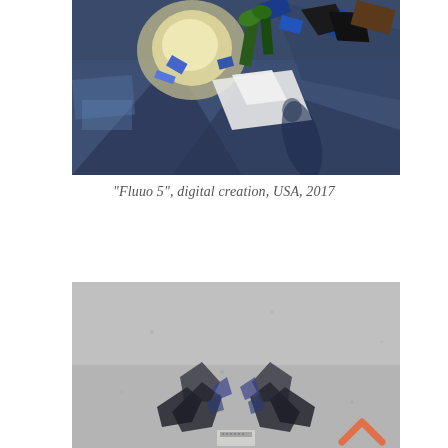[Figure (photo): Aerial/overhead digital art photograph showing scattered colorful fragments, flowers, papers and objects on a dark blue-grey surface, with a human shadow visible. Abstract digital creation.]
"Fluuo 5", digital creation, USA, 2017
[Figure (photo): Overhead aerial digital art photograph showing a symmetrical composition on a grey concrete-like surface, with mirrored dark abstract shapes resembling bat-like figures at the bottom center, and a salmon/pink chevron arrow icon in the lower right.]